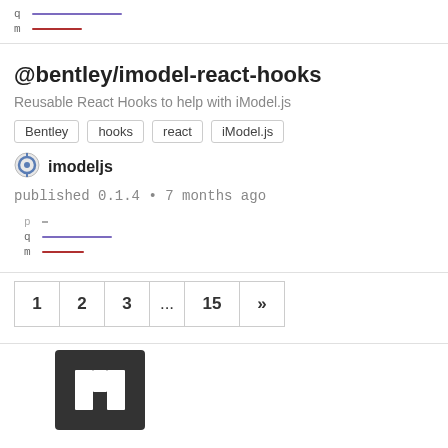[Figure (other): Mini sparkline chart with q and m labels, purple and red lines]
@bentley/imodel-react-hooks
Reusable React Hooks to help with iModel.js
Bentley
hooks
react
iModel.js
[Figure (logo): imodeljs organization icon]
imodeljs
published 0.1.4 • 7 months ago
[Figure (other): Mini sparkline chart with p, q, m labels, purple and red lines]
1  2  3  ...  15  »
[Figure (logo): npm logo square icon at bottom]